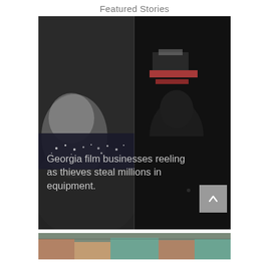Featured Stories
[Figure (screenshot): Dark night scene split into two panels: left shows a person in vehicle with city lights in background, right shows a dark figure. Overlay text reads 'Georgia film businesses reeling as thieves steal millions in equipment.']
[Figure (photo): Partial view of a second image at the bottom, showing colorful illustrated or graphic content]